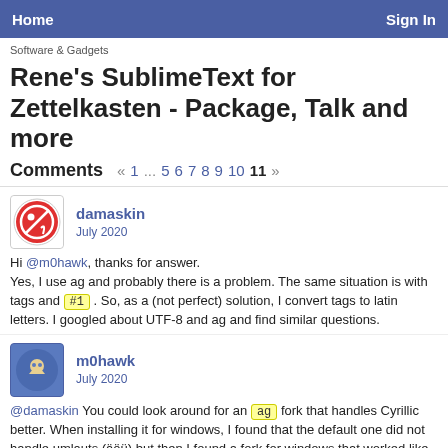Home   Sign In
Software & Gadgets
Rene's SublimeText for Zettelkasten - Package, Talk and more
Comments  « 1 … 5 6 7 8 9 10 11 »
damaskin
July 2020
Hi @m0hawk, thanks for answer.
Yes, I use ag and probably there is a problem. The same situation is with tags and #1 . So, as a (not perfect) solution, I convert tags to latin letters. I googled about UTF-8 and ag and find similar questions.
m0hawk
July 2020
@damaskin You could look around for an ag fork that handles Cyrillic better. When installing it for windows, I found that the default one did not handle umlauts (äöü) but then I found a fork for windows that worked like a charm.